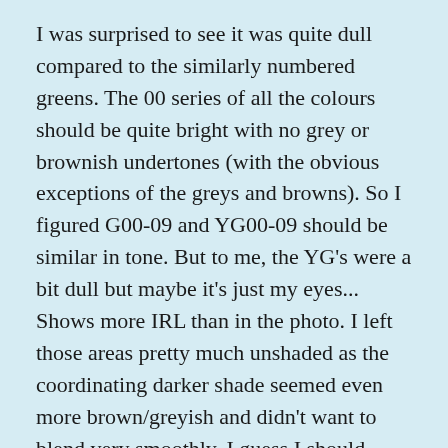I was surprised to see it was quite dull compared to the similarly numbered greens. The 00 series of all the colours should be quite bright with no grey or brownish undertones (with the obvious exceptions of the greys and browns). So I figured G00-09 and YG00-09 should be similar in tone. But to me, the YG's were a bit dull but maybe it's just my eyes... Shows more IRL than in the photo. I left those areas pretty much unshaded as the coordinating darker shade seemed even more brown/greyish and didn't want to blend very smoothly. I guess I should check colour combos ahead of time even if I am pretty sure they will/should work.
The lid is two layers of embossed CS using a Cuttlebug embossing folder. It looked unfinished with the reverse/debossed side of the embossing showing on the inside and it made the lid stronger as we all know that embossing reduces the strength of CS by at least half and